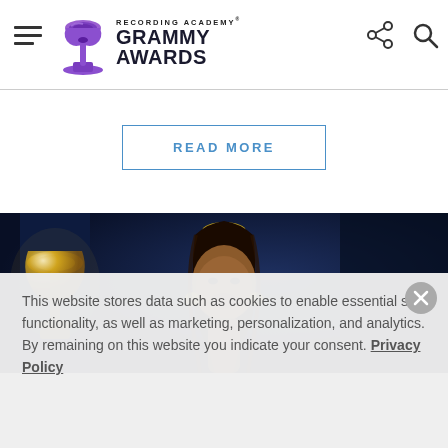Recording Academy Grammy Awards
READ MORE
[Figure (photo): A performer on stage with a gold hair accessory, braided hair, against a dark blue background with a Grammy trophy visible on the left]
This website stores data such as cookies to enable essential site functionality, as well as marketing, personalization, and analytics. By remaining on this website you indicate your consent. Privacy Policy